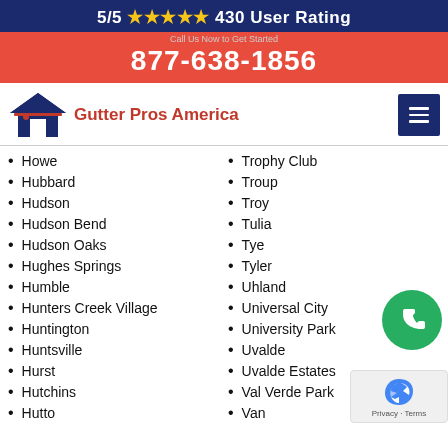5/5 ★★★★★ 430 User Rating
877-638-1856
[Figure (logo): Gutter Pros America logo with house icon]
Howe
Hubbard
Hudson
Hudson Bend
Hudson Oaks
Hughes Springs
Humble
Hunters Creek Village
Huntington
Huntsville
Hurst
Hutchins
Hutto
Trophy Club
Troup
Troy
Tulia
Tye
Tyler
Uhland
Universal City
University Park
Uvalde
Uvalde Estates
Val Verde Park
Van